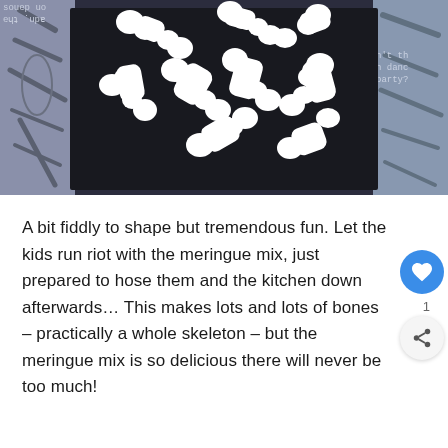[Figure (photo): Photo of white meringue bone shapes arranged on a dark board, with skeleton anatomy illustrations visible on the sides and text overlays in the corners]
A bit fiddly to shape but tremendous fun. Let the kids run riot with the meringue mix, just prepared to hose them and the kitchen down afterwards... This makes lots and lots of bones – practically a whole skeleton – but the meringue mix is so delicious there will never be too much!